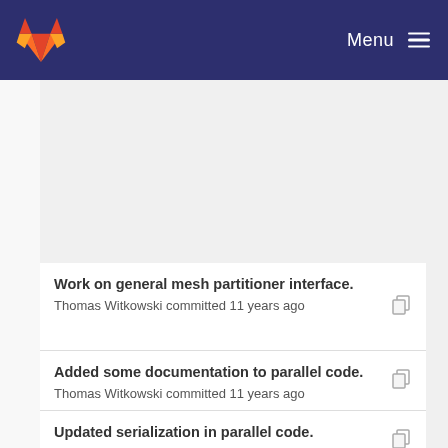GitLab — Menu
[Figure (screenshot): Empty gray content block at the top of the commit list]
Work on general mesh partitioner interface.
Thomas Witkowski committed 11 years ago
Added some documentation to parallel code.
Thomas Witkowski committed 11 years ago
Updated serialization in parallel code.
Thomas Witkowski committed 11 years ago